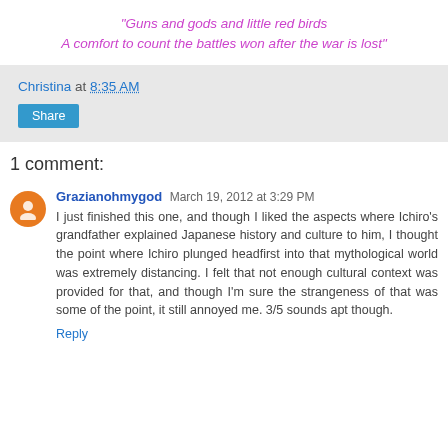"Guns and gods and little red birds
A comfort to count the battles won after the war is lost"
Christina at 8:35 AM
Share
1 comment:
Grazianohmygod March 19, 2012 at 3:29 PM
I just finished this one, and though I liked the aspects where Ichiro's grandfather explained Japanese history and culture to him, I thought the point where Ichiro plunged headfirst into that mythological world was extremely distancing. I felt that not enough cultural context was provided for that, and though I'm sure the strangeness of that was some of the point, it still annoyed me. 3/5 sounds apt though.
Reply